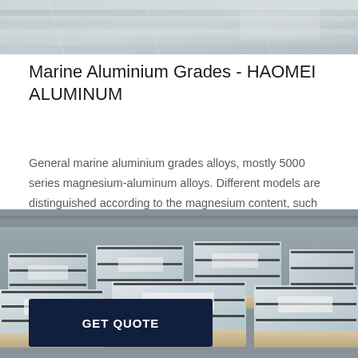[Figure (photo): Top portion of aluminium sheets or plates, partially wrapped in plastic, viewed from above]
Marine Aluminium Grades - HAOMEI ALUMINUM
General marine aluminium grades alloys, mostly 5000 series magnesium-aluminum alloys. Different models are distinguished according to the magnesium content, such as: 5052, 5083, 5086 5454, 5754 etc. Among the marine grad…
[Figure (photo): Stacks of aluminium sheet packages wrapped in silver plastic and strapped with black bands, stored in a warehouse on wooden pallets]
GET QUOTE